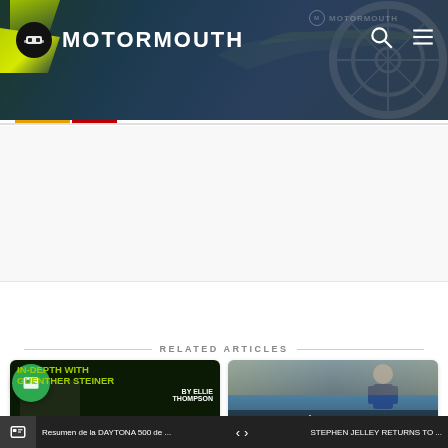MOTORMOUTH
[Figure (screenshot): Social sharing icons row: Facebook, Twitter, LinkedIn, WhatsApp, Email]
RELATED ARTICLES
[Figure (photo): In-Depth with Guenther Steiner by Ellie Thompson article card]
[Figure (photo): Max Verstappen wins French GP to extend his F1 world championship lead article card]
Resumen de la DAYTONA 500 de ...    STEPHEN JELLEY RETURNS TO ...